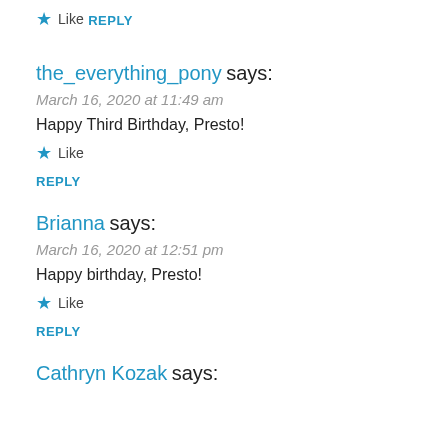★ Like
REPLY
the_everything_pony says:
March 16, 2020 at 11:49 am
Happy Third Birthday, Presto!
★ Like
REPLY
Brianna says:
March 16, 2020 at 12:51 pm
Happy birthday, Presto!
★ Like
REPLY
Cathryn Kozak says: